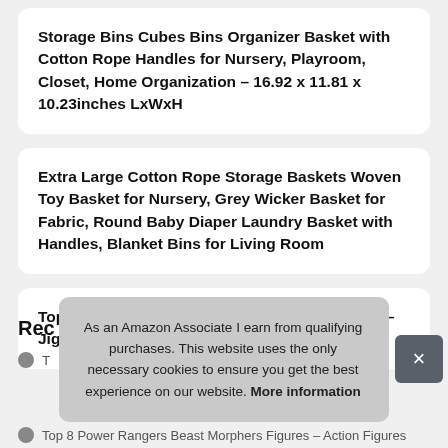Storage Bins Cubes Bins Organizer Basket with Cotton Rope Handles for Nursery, Playroom, Closet, Home Organization – 16.92 x 11.81 x 10.23inches LxWxH
Extra Large Cotton Rope Storage Baskets Woven Toy Basket for Nursery, Grey Wicker Basket for Fabric, Round Baby Diaper Laundry Basket with Handles, Blanket Bins for Living Room
Top 10 New York Puzzle Company Harry Potter – Jigsaw Puzzles
Rec
T
Top 8 Power Rangers Beast Morphers Figures – Action Figures
As an Amazon Associate I earn from qualifying purchases. This website uses the only necessary cookies to ensure you get the best experience on our website. More information